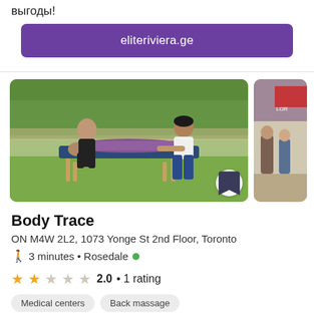выгоды!
eliteriviera.ge
[Figure (photo): Two massage therapists working on a client lying on a portable massage table outdoors on grass, with trees in the background]
[Figure (photo): Partial view of an outdoor event with people in sports attire]
Body Trace
ON M4W 2L2, 1073 Yonge St 2nd Floor, Toronto
🚶 3 minutes • Rosedale
2.0 • 1 rating
Medical centers
Back massage